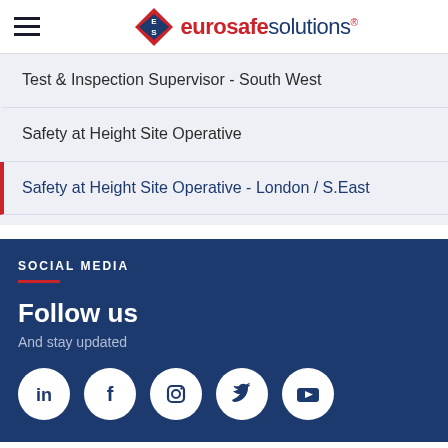eurosafesolutions
Test & Inspection Supervisor - South West
Safety at Height Site Operative
Safety at Height Site Operative - London / S.East
SOCIAL MEDIA
Follow us
And stay updated
[Figure (infographic): Social media icons: LinkedIn, Facebook, Instagram, Twitter, YouTube in white circles on dark blue background]